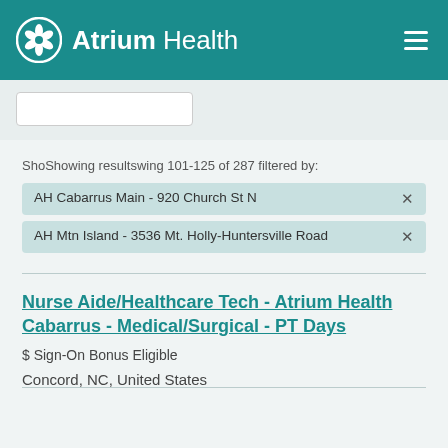Atrium Health
ShoShowing resultswing 101-125 of 287 filtered by:
AH Cabarrus Main - 920 Church St N  ×
AH Mtn Island - 3536 Mt. Holly-Huntersville Road  ×
Nurse Aide/Healthcare Tech - Atrium Health Cabarrus - Medical/Surgical - PT Days
$ Sign-On Bonus Eligible
Concord, NC, United States